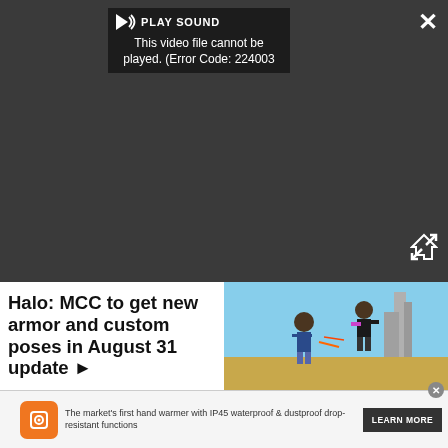[Figure (screenshot): Video player with dark background showing error message 'This video file cannot be played. (Error Code: 224003)' with PLAY SOUND button and speaker icon at top, close X button top right, expand icon bottom right]
[Figure (screenshot): Saints Row 2022 game screenshot showing characters fighting in a desert environment with colorful outfits]
Halo: MCC to get new armor and custom poses in August 31 update ▶
Saints Row (2022) multiplayer guide: How to co-op, prank your partner, and more ▶
[Figure (screenshot): Advertisement banner with orange hand warmer product icon, text 'The market's first hand warmer with IP45 waterproof & dustproof drop-resistant functions' and LEARN MORE button]